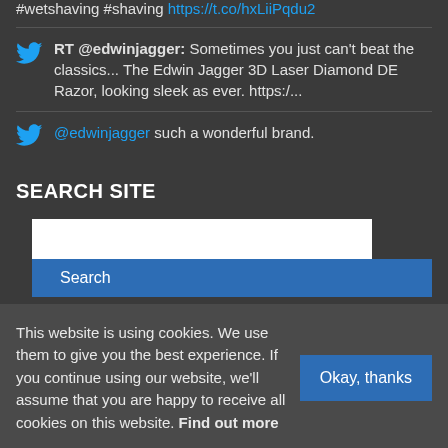#wetshaving #shaving https://t.co/hxLiiPqdu2
RT @edwinjagger: Sometimes you just can't beat the classics... The Edwin Jagger 3D Laser Diamond DE Razor, looking sleek as ever. https:/...
@edwinjagger such a wonderful brand.
SEARCH SITE
[Figure (screenshot): Search input box (white) and Search button (blue)]
This website is using cookies. We use them to give you the best experience. If you continue using our website, we'll assume that you are happy to receive all cookies on this website. Find out more